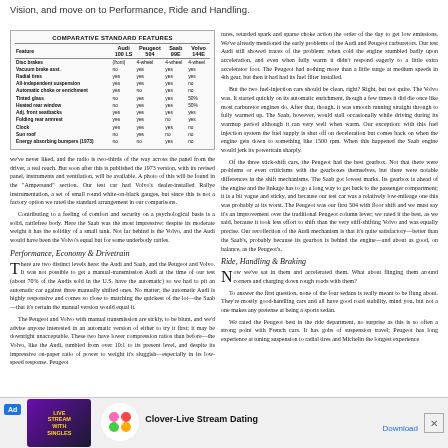Vision, and move on to Performance, Ride and Handling.
| Feature | Audi 100 LS | Peugeot 504 | Saab 99E | Volvo 144E |
| --- | --- | --- | --- | --- |
| Disc brakes | (front) | 4-wheel | 4-wheel | 4-wheel |
| Vacuum brake asst. | no | yes | yes | yes |
| Radial tires | yes | yes | yes | yes |
| All-independent suspension | yes | yes | yes | no |
| Automatic choke or enrichment | yes | no | yes | no |
| Tinted glass | no | yes | yes | 50% |
| Heated rear window | no | yes | yes | 50% |
| Adj. front seatbacks | yes | yes | yes | yes |
| Folding rear armrest | yes | yes | no | yes |
| Clock | yes | yes | yes | no |
| Sun roof | no | yes | no | no |
| Energy absorbing bumpers (1973) | no | no | yes | no |
we've never liked, and the radio is two-thirds of the way across the panel from the driver, a real reach. But soon after this is published the 1973 version, with its revised panel, instruments and ventilation, will be available. A photo of this will be found in the "Ampersand" section. Our test car had Volvo's dealer-installed Rallye instrumentation, a set of small round white-on-black gauges, but since this is not a factory option we rated the standard arrangement in our comparisons.

Contributing to a feeling of comfort and security on a psychological basis is a solid, rattlefree body. Here the Saab was the most impressive: despite its moderate weight it has the solidity of a small tank. Not far behind is the Volvo, and the Audi would have been the Volvo's equal but for some underbody rattles.
Performance, Economy & Drivetrain
There are two distinct levels here: the Audi and Saab, and the Peugeot and Volvo. It was not possible to get a manual-transmission Audi at the time of our test (about 70% of the Audis sold in the U.S. have the automatic) so we had to pit an automatic car against three manually shifted ones. No matter; the automatic Audi is highly responsive and comes so close to matching the quickest of the lot—the Saab—that it's certain the manual version would equal it.

The Peugeot and Volvo with manual transmission are sickly, to be blunt, and we'd advise anyone interested in an automatic version of either to try it first; it may be downright unacceptable. These two have lower compression ratios than before—the Volvo, like the Audi, tumbled from over 10:1 to its present level, and despite its impressive on-paper ratio of power to weight it's sluggish—especially in its low-speed response. Peugeot
tures, retarded spark and sparse choke action the order of the day to get low emissions. We've already mentioned the early problems of the Audi and Peugeot carburetors. Our test Audi still showed traces of the problem: when cold the engine stumbled badly upon acceleration, and even when fully warm it didn't respond eagerly to a little extra accelerator foot. The Peugeot had nothing more than a little surge at medium speeds in 4th gear, but then it had had its fuel filter installed.

But the two fuel-injection cars should be clean, right? Right, but not quite. The Volvo was. It started quickly on its automatic enrichment, though a few times it did die once like most carburetor engines do. After that, though, it was smooth running straight through to fully warmed up. The Saab, however, would stall occasionally while driving during its warmup period although it ran very well when warm. Our exception: with this fuel injection system the fuel supply is shut off on deceleration but comes back on when the engine gets down to something like 1500 rpm. When this happened the Saab engine would jerk its powertrain sharply.

Of the three stick-shift cars, the Peugeot had the best gearbox. Not that there were problems or even criticisms with the gearboxes themselves, but there were notable differences in the shift mechanisms. The Saab got lowest marks. Its gearbox is ahead of the engine and the linkage has to go a long way to get back to the passenger compartment; it is a bit vague and sticky, and because our test car was a relatively low-mileage one this was probably at its worst. The Peugeot was our first 504 with floor shift and we must say it's an improvement over the traditional Peugeot column lever; we rated it the best, as we said, because it took less effort to shift than the very stiff-shifting Volvo and was equally precise. Our recollection of the Audi mechanism is that it's quite satisfactory—better than the Saab's, probably because its gearbox is behind the engine—and about as good, on balance, as the Peugeot's.
Ride, Handling & Braking
Now we've sat in them and accelerated them. What about flinging them around corners and charging down rough roads with them?

To answer the first question, none of the four sedans is really meant to be flung about. They're mostly good-handling cars and all have good road stability, mind you, but not a one makes any pretense at being a sports sedan.

We rated the Peugeot best in the ride department, no surprise as this is so often a strong point with French cars. It has gobs of suspension travel; Peugeot has long experience at tuning suspension to radial tires and Michelin the longest experience
Clover-Live Stream Dating